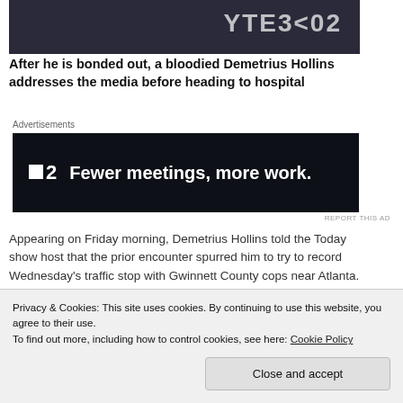[Figure (screenshot): Video thumbnail with dark background and partial text visible]
After he is bonded out, a bloodied Demetrius Hollins addresses the media before heading to hospital
Advertisements
[Figure (other): Advertisement banner: dark background with logo and text 'Fewer meetings, more work.']
REPORT THIS AD
Appearing on Friday morning, Demetrius Hollins told the Today show host that the prior encounter spurred him to try to record Wednesday's traffic stop with Gwinnett County cops near Atlanta.
Privacy & Cookies: This site uses cookies. By continuing to use this website, you agree to their use.
To find out more, including how to control cookies, see here: Cookie Policy
Close and accept